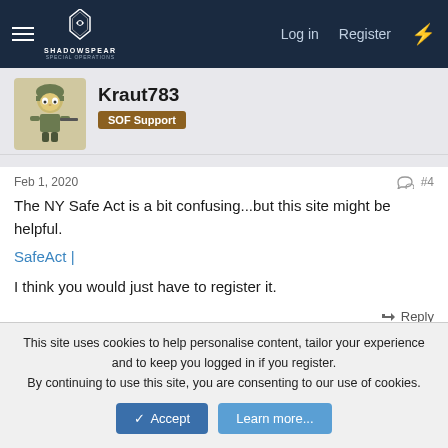ShadowSpear Special Operations | Log in | Register
Kraut783
SOF Support
Feb 1, 2020
#4
The NY Safe Act is a bit confusing...but this site might be helpful.
SafeAct |
I think you would just have to register it.
Reply
RackMaster, Gunz and Marauder06
This site uses cookies to help personalise content, tailor your experience and to keep you logged in if you register.
By continuing to use this site, you are consenting to our use of cookies.